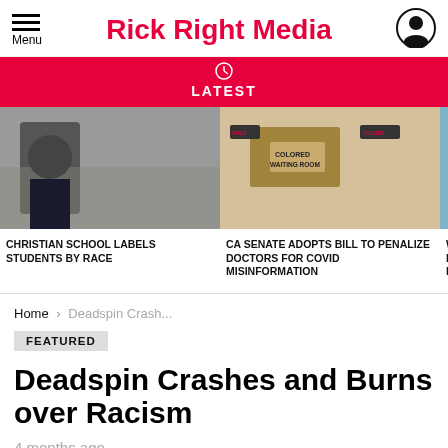Rick Right Media
LATEST
[Figure (photo): News carousel with three visible article thumbnails: a Black man in a suit, a 'Colored Waiting Room' sign, and medical professionals in scrubs with stethoscopes, and a partial fourth image.]
CHRISTIAN SCHOOL LABELS STUDENTS BY RACE
CA SENATE ADOPTS BILL TO PENALIZE DOCTORS FOR COVID MISINFORMATION
WASHING... IT IS VOID... LATEST PI...
Home › Deadspin Crash...
FEATURED
Deadspin Crashes and Burns over Racism
4 months ago
[Figure (photo): Bottom strip showing two partial article images side by side.]